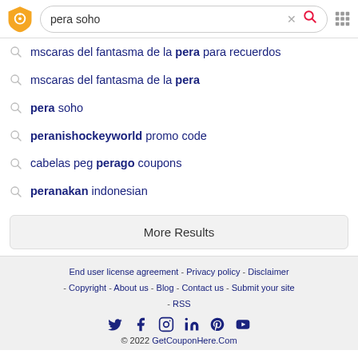[Figure (screenshot): Search bar with logo, search text 'pera soho', clear and search icons, and grid icon]
mscaras del fantasma de la pera para recuerdos
mscaras del fantasma de la pera
pera soho
peranishockeyworld promo code
cabelas peg perago coupons
peranakan indonesian
More Results
End user license agreement - Privacy policy - Disclaimer - Copyright - About us - Blog - Contact us - Submit your site - RSS
© 2022 GetCouponHere.Com